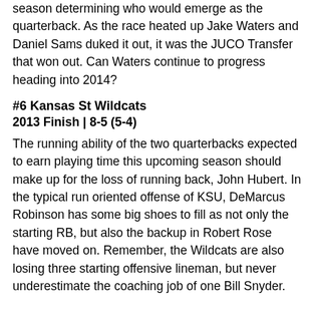season determining who would emerge as the quarterback. As the race heated up Jake Waters and Daniel Sams duked it out, it was the JUCO Transfer that won out. Can Waters continue to progress heading into 2014?
#6 Kansas St Wildcats
2013 Finish | 8-5 (5-4)
The running ability of the two quarterbacks expected to earn playing time this upcoming season should make up for the loss of running back, John Hubert. In the typical run oriented offense of KSU, DeMarcus Robinson has some big shoes to fill as not only the starting RB, but also the backup in Robert Rose have moved on. Remember, the Wildcats are also losing three starting offensive lineman, but never underestimate the coaching job of one Bill Snyder.